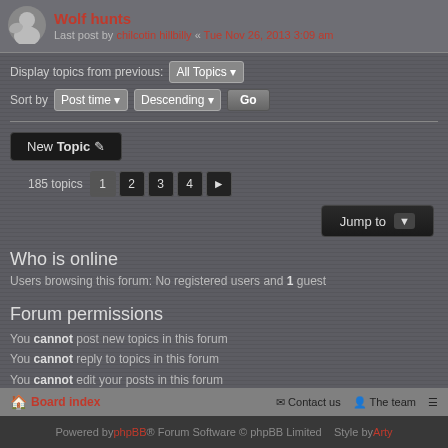Wolf hunts
Last post by chilcotin hillbilly « Tue Nov 26, 2013 3:09 am
Display topics from previous: All Topics
Sort by Post time Descending Go
New Topic
185 topics 1 2 3 4 ▶
Jump to
Who is online
Users browsing this forum: No registered users and 1 guest
Forum permissions
You cannot post new topics in this forum
You cannot reply to topics in this forum
You cannot edit your posts in this forum
You cannot delete your posts in this forum
You cannot post attachments in this forum
Board index   Contact us   The team
Powered by phpBB® Forum Software © phpBB Limited  Style by Arty